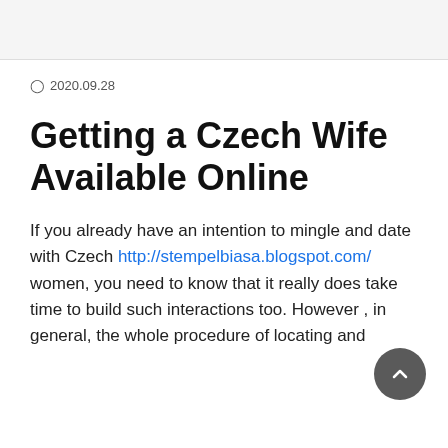🕐 2020.09.28
Getting a Czech Wife Available Online
If you already have an intention to mingle and date with Czech http://stempelbiasa.blogspot.com/ women, you need to know that it really does take time to build such interactions too. However , in general, the whole procedure of locating and chatting with a Czech partner from elsewhere has